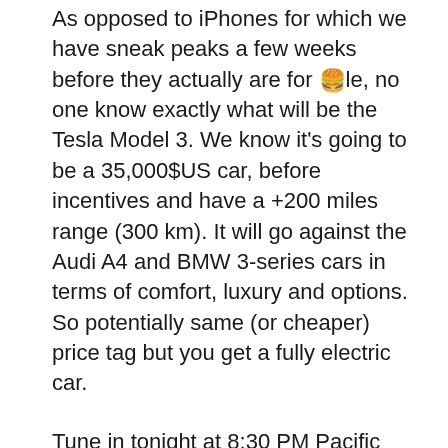As opposed to iPhones for which we have sneak peaks a few weeks before they actually are for sale, no one know exactly what will be the Tesla Model 3. We know it's going to be a 35,000$US car, before incentives and have a +200 miles range (300 km). It will go against the Audi A4 and BMW 3-series cars in terms of comfort, luxury and options. So potentially same (or cheaper) price tag but you get a fully electric car.
Tune in tonight at 8:30 PM Pacific time (11:30pm EST) for the unveiling of the car. Elon Musk, Tesla's main man is presenting the car tonight and he has already announced another event at a later date where we will dive in deeper in the details.
For us Canadians, I'm looking for all the details